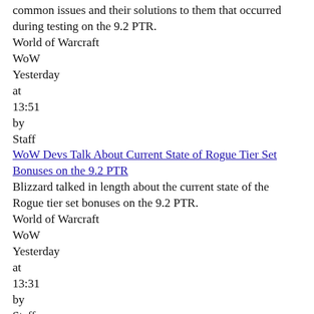common issues and their solutions to them that occurred during testing on the 9.2 PTR.
World of Warcraft
WoW
Yesterday
at
13:51
by
Staff
WoW Devs Talk About Current State of Rogue Tier Set Bonuses on the 9.2 PTR
Blizzard talked in length about the current state of the Rogue tier set bonuses on the 9.2 PTR.
World of Warcraft
WoW
Yesterday
at
13:31
by
Staff
Vessel of Profound Possibilities Requires Elite Rank in Patch 9.2
Blizzard clarified in a blue post that
Vessel of Profound Possibilities
(new
Oushak Rug Handmade Rug Runner Rug Turkish Rug Big Rug,